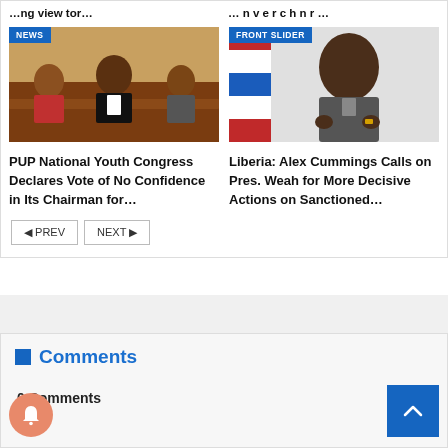PUP National Youth Congress Declares Vote of No Confidence in Its Chairman for…
Liberia: Alex Cummings Calls on Pres. Weah for More Decisive Actions on Sanctioned…
[Figure (photo): Three men sitting at a table during a press briefing. NEWS badge top left.]
[Figure (photo): Older man in grey suit gesturing with hands, Liberian flag in background. FRONT SLIDER badge top left.]
PUP National Youth Congress Declares Vote of No Confidence in Its Chairman for…
Liberia: Alex Cummings Calls on Pres. Weah for More Decisive Actions on Sanctioned…
◄ PREV    NEXT ►
Comments
0 Comments